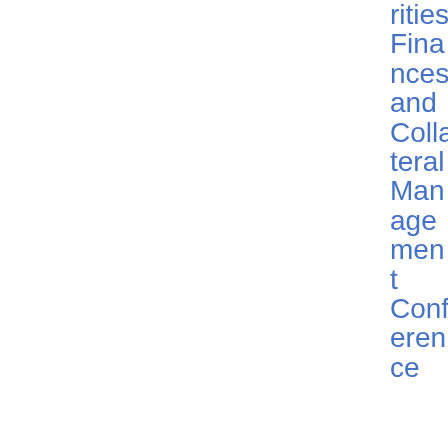rities Finances and Collateral Management Conference
| Date | Reference | Title | Topic | Type | Download |
| --- | --- | --- | --- | --- | --- |
| 12/06/2019 | ESMA 33-128-713 | Keynote by ESMA Executive | Securitisation | Speech | PDF 12 0.24 KB |